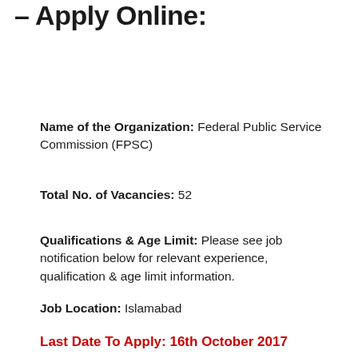– Apply Online:
Name of the Organization: Federal Public Service Commission (FPSC)
Total No. of Vacancies: 52
Qualifications & Age Limit: Please see job notification below for relevant experience, qualification & age limit information.
Job Location: Islamabad
Last Date To Apply: 16th October 2017